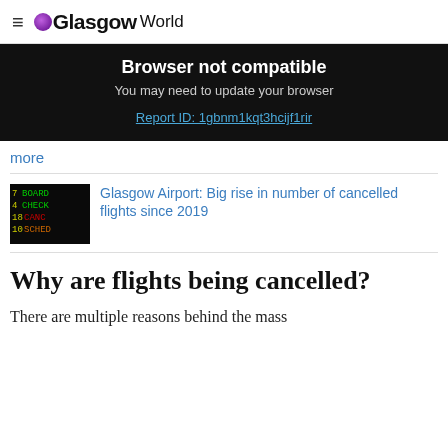≡ oGlasgow World
Browser not compatible
You may need to update your browser
Report ID: 1gbnm1kqt3hcijf1rir
more
[Figure (photo): Airport departure board showing BOARD, CHECK, CANCELLED, SCHEDULED in red and green LED text]
Glasgow Airport: Big rise in number of cancelled flights since 2019
Why are flights being cancelled?
There are multiple reasons behind the mass